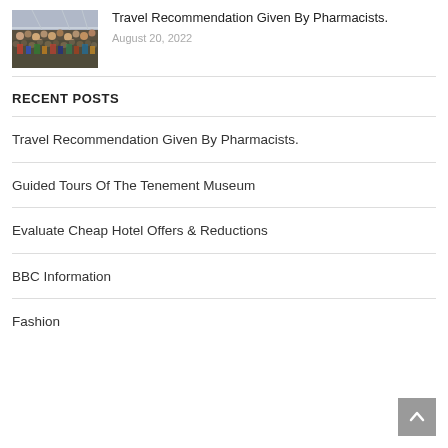[Figure (photo): Crowd of people at what appears to be a transit hub or busy public area, thumbnail image]
Travel Recommendation Given By Pharmacists.
August 20, 2022
RECENT POSTS
Travel Recommendation Given By Pharmacists.
Guided Tours Of The Tenement Museum
Evaluate Cheap Hotel Offers & Reductions
BBC Information
Fashion